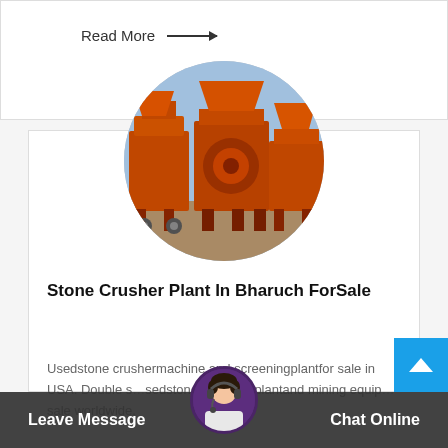Read More →
[Figure (photo): Circular cropped photo of orange industrial stone crusher machines parked outdoors]
Stone Crusher Plant In Bharuch ForSale
Usedstone crushermachine and screeningplantfor sale in USA. Double st…sedstone crushing plantand mining equip… sale worldwide.
Leave Message   Chat Online